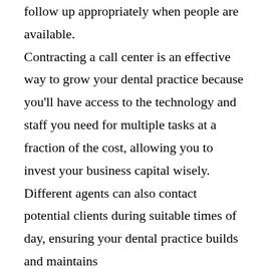follow up appropriately when people are available.

Contracting a call center is an effective way to grow your dental practice because you'll have access to the technology and staff you need for multiple tasks at a fraction of the cost, allowing you to invest your business capital wisely. Different agents can also contact potential clients during suitable times of day, ensuring your dental practice builds and maintains